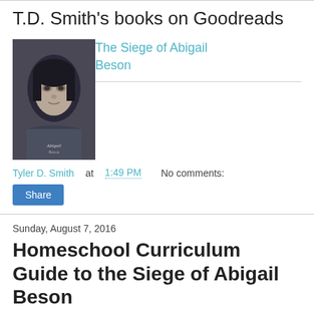T.D. Smith's books on Goodreads
[Figure (illustration): Book cover of The Siege of Abigail Beson showing a grayscale photo of a young girl]
The Siege of Abigail Beson
Tyler D. Smith at 1:49 PM   No comments:
Share
Sunday, August 7, 2016
Homeschool Curriculum Guide to the Siege of Abigail Beson
Update! The expanded guide including The Subversion of Abigail Beson and The Forging of Abigail Beson is here.